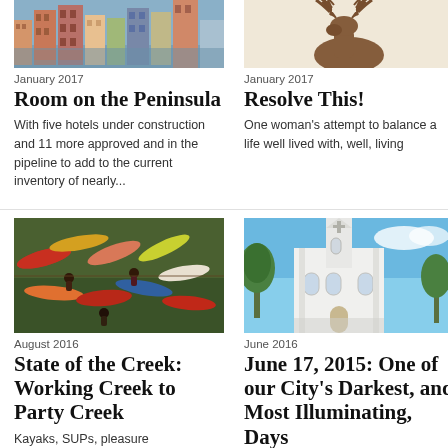[Figure (photo): Aerial/street view of colorful buildings on a waterfront or urban area]
[Figure (photo): Brown and white moose or antler silhouette on a light beige background]
January 2017
January 2017
Room on the Peninsula
Resolve This!
With five hotels under construction and 11 more approved and in the pipeline to add to the current inventory of nearly...
One woman's attempt to balance a life well lived with, well, living
[Figure (photo): Aerial view of colorful kayaks and SUPs on water with people]
[Figure (photo): White church exterior with steeple against blue sky with trees]
August 2016
June 2016
State of the Creek: Working Creek to Party Creek
June 17, 2015: One of our City's Darkest, and Most Illuminating, Days
Kayaks, SUPs, pleasure